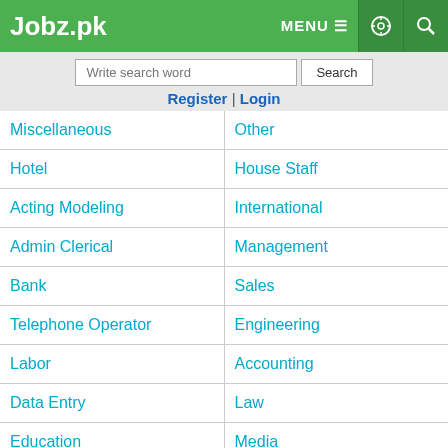Jobz.pk
Write search word | Search
Register | Login
Miscellaneous
Other
Hotel
House Staff
Acting Modeling
International
Admin Clerical
Management
Bank
Sales
Telephone Operator
Engineering
Labor
Accounting
Data Entry
Law
Education
Media
IT
Transportation
Close x
6511 Share | 17.8K WhatsApp | 2840 Tweet | 51.3K Share | 20.5K Reddit | 1720 Pin
627 Recommend
Prizebond | Scholarship | Interns | Employers | Alerts | Login